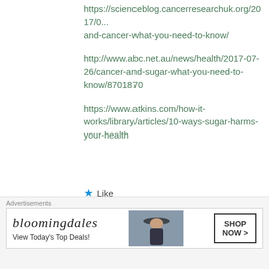https://scienceblog.cancerresearchuk.org/2017/0... and-cancer-what-you-need-to-know/
http://www.abc.net.au/news/health/2017-07-26/cancer-and-sugar-what-you-need-to-know/8701870
https://www.atkins.com/how-it-works/library/articles/10-ways-sugar-harms-your-health
★ Like
Reply
[Figure (illustration): Round avatar icon with green geometric star/snowflake pattern on white background]
Gordon Hunt | August 25, 2022 at 12:43
Advertisements
[Figure (infographic): Bloomingdales advertisement banner: logo, 'View Today's Top Deals!', woman in hat, 'SHOP NOW >' button]